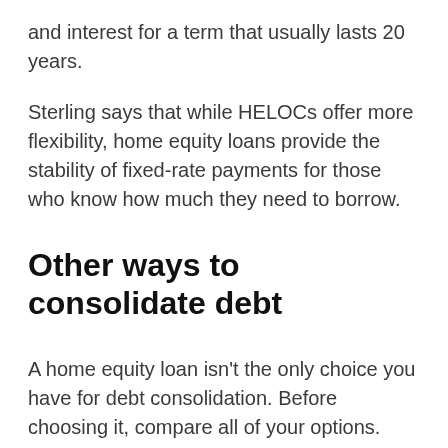and interest for a term that usually lasts 20 years.
Sterling says that while HELOCs offer more flexibility, home equity loans provide the stability of fixed-rate payments for those who know how much they need to borrow.
Other ways to consolidate debt
A home equity loan isn't the only choice you have for debt consolidation. Before choosing it, compare all of your options.
Personal loans: Even though personal loans carry higher interest rates than home equity loans,